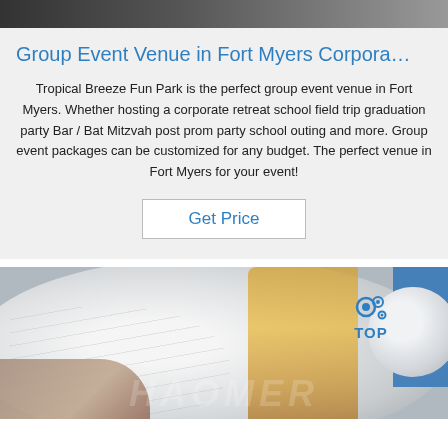[Figure (photo): Partial top photo strip, dark/grey background]
Group Event Venue in Fort Myers Corpora…
Tropical Breeze Fun Park is the perfect group event venue in Fort Myers. Whether hosting a corporate retreat school field trip graduation party Bar / Bat Mitzvah post prom party school outing and more. Group event packages can be customized for any budget. The perfect venue in Fort Myers for your event!
Get Price
[Figure (photo): Photo of a large white plastic film roll being handled, with a person in yellow clothing visible on the right, a blue background section on the right, another white roll, a TOP logo watermark, and a watermark text reading HAOMER or similar across the bottom.]